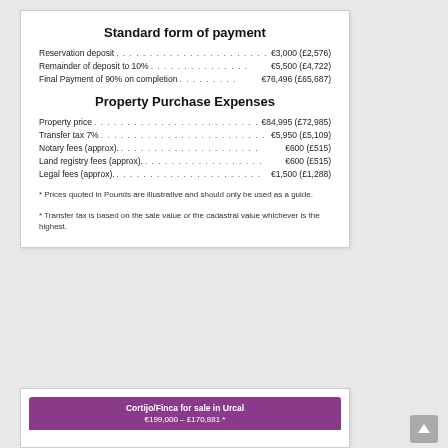Standard form of payment
Reservation deposit . . . . . . . . . . . . . . . . . . . . . . . €3,000 (£2,576)
Remainder of deposit to 10% . . . . . . . . . . . . . . . €5,500 (£4,722)
Final Payment of 90% on completion . . . . . . . . . €76,496 (£65,687)
Property Purchase Expenses
Property price . . . . . . . . . . . . . . . . . . . . . . . . . . . €84,995 (£72,985)
Transfer tax 7% . . . . . . . . . . . . . . . . . . . . . . . . . €5,950 (£5,109)
Notary fees (approx). . . . . . . . . . . . . . . . . . . . . . €600 (£515)
Land registry fees (approx) . . . . . . . . . . . . . . . . €600 (£515)
Legal fees (approx). . . . . . . . . . . . . . . . . . . . . . . €1,500 (£1,288)
* Prices quoted in Pounds are illustrative and should only be used as a guide.
* Transfer tax is based on the sale value or the cadastral value whichever is the highest.
Cortijo/Finca for sale in Urcal
€199,000 – £170,881 *